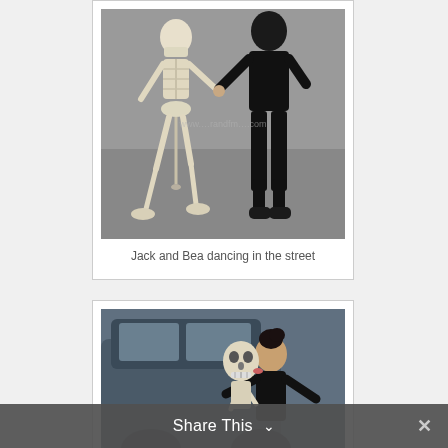[Figure (photo): A person dressed in black dancing with a skeleton on a street. A watermark reading 'www....randfm....com' is visible.]
Jack and Bea dancing in the street
[Figure (photo): A woman kissing a skeleton prop, with a dark SUV vehicle visible in the background.]
Share This ∨